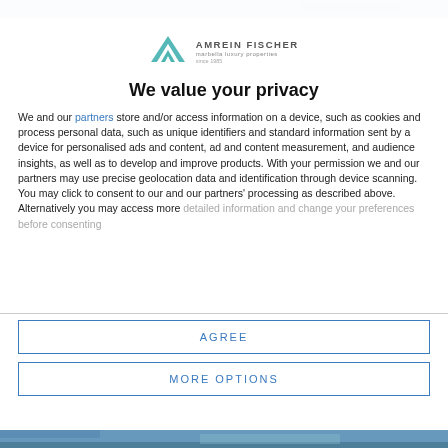[Figure (photo): Top strip of a background photo showing an outdoor scene]
[Figure (logo): Amrein Fischer marbella luxury properties logo with teal chevron/arrow icon]
We value your privacy
We and our partners store and/or access information on a device, such as cookies and process personal data, such as unique identifiers and standard information sent by a device for personalised ads and content, ad and content measurement, and audience insights, as well as to develop and improve products. With your permission we and our partners may use precise geolocation data and identification through device scanning. You may click to consent to our and our partners' processing as described above. Alternatively you may access more detailed information and change your preferences before consenting
AGREE
MORE OPTIONS
[Figure (photo): Bottom strip of a background photo showing an outdoor scene]